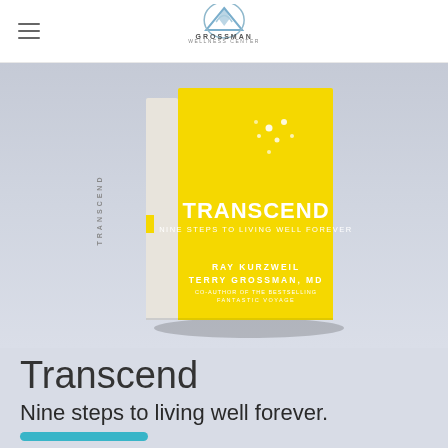Grossman Wellness Center
[Figure (photo): Book cover of 'Transcend: Nine Steps to Living Well Forever' by Ray Kurzweil and Terry Grossman, MD. Yellow cover with white dots and white text. Book shown in 3D perspective with spine visible.]
Transcend
Nine steps to living well forever.